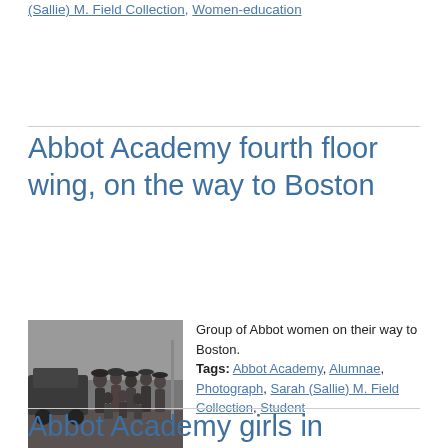(Sallie) M. Field Collection, Women-education
Abbot Academy fourth floor wing, on the way to Boston
[Figure (photo): Black and white photograph of a group of Abbot Academy women standing outside near a car, on their way to Boston. Women wearing long coats and hats.]
Group of Abbot women on their way to Boston. Tags: Abbot Academy, Alumnae, Photograph, Sarah (Sallie) M. Field Collection, Student
Abbot Academy girls in